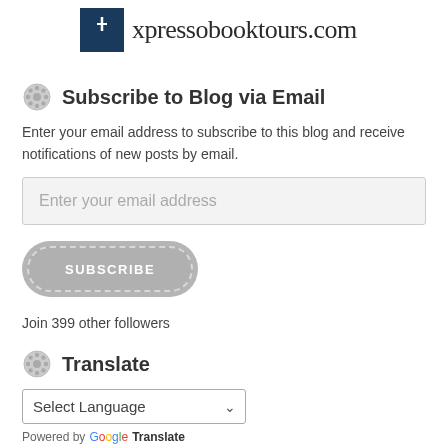[Figure (logo): Xpresso Book Tours logo with dark blue rectangle containing a white bookmark/ribbon icon and text 'xpressobooktours.com']
Subscribe to Blog via Email
Enter your email address to subscribe to this blog and receive notifications of new posts by email.
Enter your email address
SUBSCRIBE
Join 399 other followers
Translate
Select Language
Powered by Google Translate